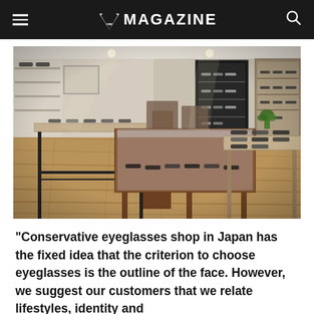V MAGAZINE
[Figure (photo): Interior of an eyeglasses shop in Japan, showing wooden display tables with glasses laid out, glass display cases, wall-mounted eyeglass displays, and hardwood flooring. The space has a warm, boutique feel with natural wood tones.]
“Conservative eyeglasses shop in Japan has the fixed idea that the criterion to choose eyeglasses is the outline of the face. However, we suggest our customers that we relate lifestyles, identity and